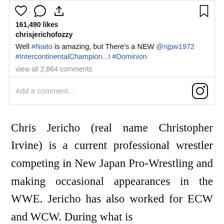[Figure (screenshot): Instagram post action icons: heart, comment, share (left); bookmark (right)]
161,490 likes
chrisjerichofozzy
Well #Naito is amazing, but There’s a NEW @njpw1972 #IntercontinentalChampion...! #Dominion
view all 2,864 comments
Add a comment...
Chris Jericho (real name Christopher Irvine) is a current professional wrestler competing in New Japan Pro-Wrestling and making occasional appearances in the WWE. Jericho has also worked for ECW and WCW. During what is